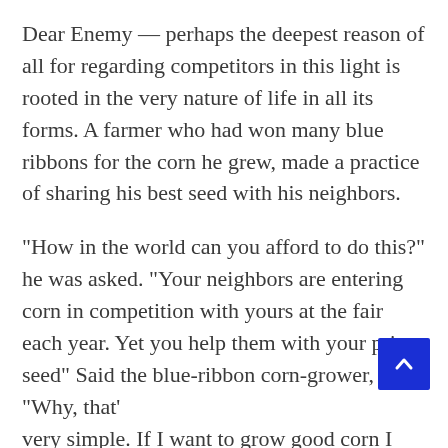Dear Enemy — perhaps the deepest reason of all for regarding competitors in this light is rooted in the very nature of life in all its forms. A farmer who had won many blue ribbons for the corn he grew, made a practice of sharing his best seed with his neighbors.
“How in the world can you afford to do this?” he was asked. “Your neighbors are entering corn in competition with yours at the fair each year. Yet you help them with your prize seed” Said the blue-ribbon corn-grower, “Why, that’s very simple. If I want to grow good corn I must help my neighbors to grow good corn, too. The wind picks up the pollen from the ripening corn and swirls it from field to field. If my neighbors grow inferior corn, the quality of my